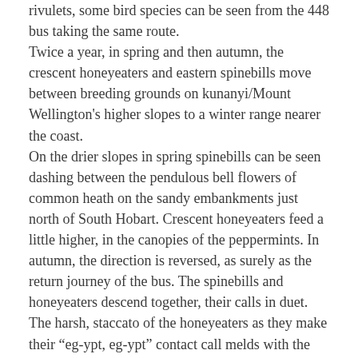rivulets, some bird species can be seen from the 448 bus taking the same route.
Twice a year, in spring and then autumn, the crescent honeyeaters and eastern spinebills move between breeding grounds on kunanyi/Mount Wellington's higher slopes to a winter range nearer the coast.
On the drier slopes in spring spinebills can be seen dashing between the pendulous bell flowers of common heath on the sandy embankments just north of South Hobart. Crescent honeyeaters feed a little higher, in the canopies of the peppermints. In autumn, the direction is reversed, as surely as the return journey of the bus. The spinebills and honeyeaters descend together, their calls in duet. The harsh, staccato of the honeyeaters as they make their "eg-ypt, eg-ypt" contact call melds with the high-paced, descending twitter of the spinebills.
Journey's end, not at Franklin Square but on Macquarie Street and a welcome from domestic pigeons and starlings. Back to reality, the sharp end of man's intrusion into the natural world. Mother Nature hangs in and hangs on, however. Just over the